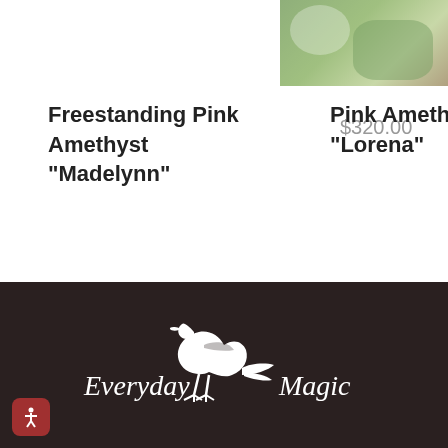[Figure (photo): Partial photo of succulent plants, visible in upper right corner]
Freestanding Pink Amethyst "Madelynn"
$320.00
Pink Amethyst "Lorena"
[Figure (logo): Everyday Magic logo with white crow/raven silhouette on dark background, text reads 'Everyday Magic']